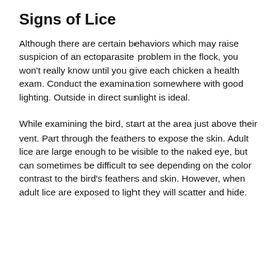Signs of Lice
Although there are certain behaviors which may raise suspicion of an ectoparasite problem in the flock, you won't really know until you give each chicken a health exam. Conduct the examination somewhere with good lighting. Outside in direct sunlight is ideal.
While examining the bird, start at the area just above their vent. Part through the feathers to expose the skin. Adult lice are large enough to be visible to the naked eye, but can sometimes be difficult to see depending on the color contrast to the bird's feathers and skin. However, when adult lice are exposed to light they will scatter and hide.